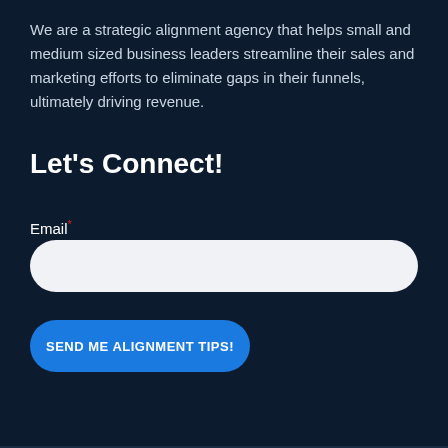We are a strategic alignment agency that helps small and medium sized business leaders streamline their sales and marketing efforts to eliminate gaps in their funnels, ultimately driving revenue.
Let's Connect!
Email*
SEND ME ALIGNMENT TIPS!